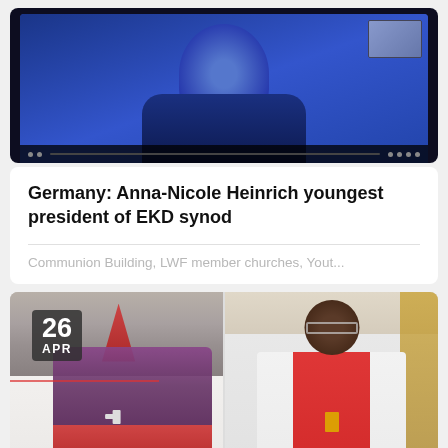[Figure (photo): Screenshot of a video call showing a person in blue clothing on screen with a secondary mini screen in the top right corner and a taskbar at the bottom]
Germany: Anna-Nicole Heinrich youngest president of EKD synod
Communion Building, LWF member churches, Yout...
[Figure (photo): Two photographs side by side: left shows a bishop in full regalia including red and purple mitre, vestments and holding a staff; right shows a church leader wearing white robes with red and gold stole. Date badge '26 APR' overlaid on top-left.]